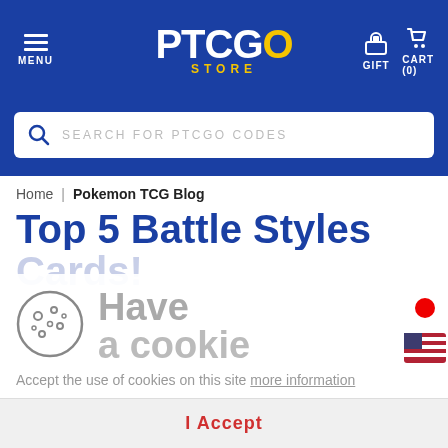PTCGO STORE — MENU | GIFT | CART (0)
SEARCH FOR PTCGO CODES
Home | Pokemon TCG Blog
Top 5 Battle Styles Cards!
Have a cookie
Accept the use of cookies on this site more information
I Accept